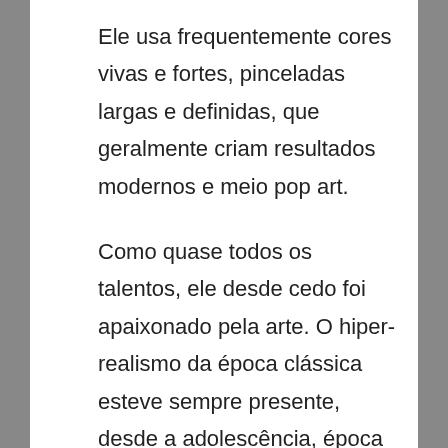Ele usa frequentemente cores vivas e fortes, pinceladas largas e definidas, que geralmente criam resultados modernos e meio pop art.
Como quase todos os talentos, ele desde cedo foi apaixonado pela arte. O hiper-realismo da época clássica esteve sempre presente, desde a adolescência, época em que já gostava de frequentar museus de arte no Rio e apreciava trabalhos de grandes mestres como Michelangelo, Leonardo da Vinci e Monet e, aos 17 anos, pintou a sua primeira tela, intuitivamente, sem jamais ter frequentado nenhuma escola de arte.
Nery gosta de pintar elementos variados e consegue executar todos com igual maestria. O artista fotografa